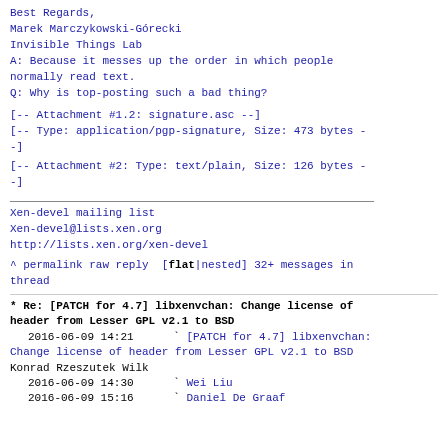Best Regards,
Marek Marczykowski-Górecki
Invisible Things Lab
A: Because it messes up the order in which people
normally read text.
Q: Why is top-posting such a bad thing?
[-- Attachment #1.2: signature.asc --]
[-- Type: application/pgp-signature, Size: 473 bytes -
-]
[-- Attachment #2: Type: text/plain, Size: 126 bytes -
-]
Xen-devel mailing list
Xen-devel@lists.xen.org
http://lists.xen.org/xen-devel
^ permalink raw reply  [flat|nested] 32+ messages in
thread
* Re: [PATCH for 4.7] libxenvchan: Change license of
header from Lesser GPL v2.1 to BSD
  2016-06-09 14:21      ` [PATCH for 4.7] libxenvchan:
Change license of header from Lesser GPL v2.1 to BSD
Konrad Rzeszutek Wilk
  2016-06-09 14:30      ` Wei Liu
  2016-06-09 15:16      ` Daniel De Graaf